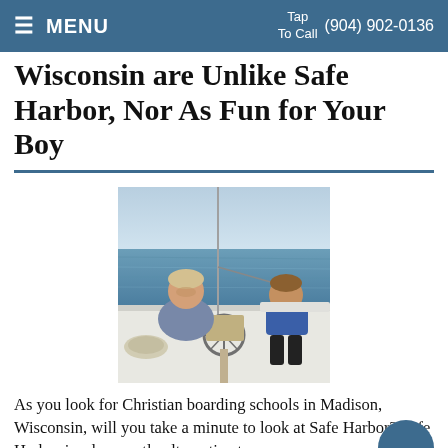MENU  Tap To Call  (904) 902-0136
Wisconsin are Unlike Safe Harbor, Nor As Fun for Your Boy
[Figure (photo): Two boys on a sailboat; one is at the helm looking up, the other sits on the edge wearing a blue shirt, with water and sky in the background.]
As you look for Christian boarding schools in Madison, Wisconsin, will you take a minute to look at Safe Harbor? Safe Harbor is a less costly alternative to